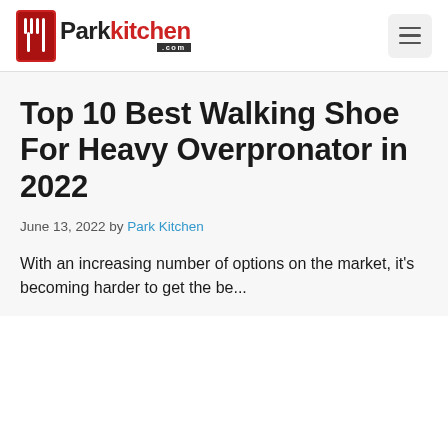Parkkitchen.com
Top 10 Best Walking Shoe For Heavy Overpronator in 2022
June 13, 2022 by Park Kitchen
With an increasing number of options on the market, it's becoming harder to get the bes...